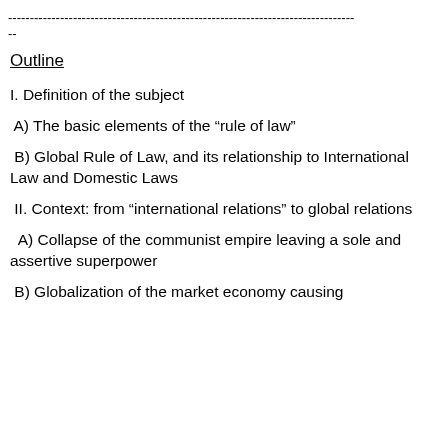--------------------------------------------------------------------------------
--
Outline
I. Definition of the subject
A) The basic elements of the “rule of law”
B) Global Rule of Law, and its relationship to International Law and Domestic Laws
II. Context: from “international relations” to global relations
A) Collapse of the communist empire leaving a sole and assertive superpower
B) Globalization of the market economy causing